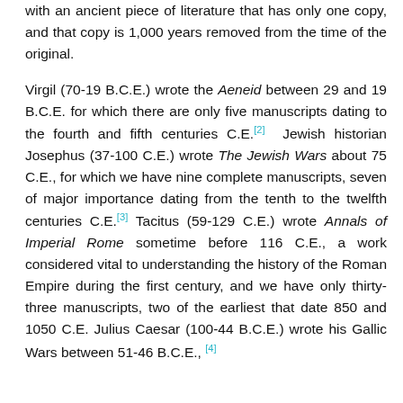with an ancient piece of literature that has only one copy, and that copy is 1,000 years removed from the time of the original.
Virgil (70-19 B.C.E.) wrote the Aeneid between 29 and 19 B.C.E. for which there are only five manuscripts dating to the fourth and fifth centuries C.E.[2] Jewish historian Josephus (37-100 C.E.) wrote The Jewish Wars about 75 C.E., for which we have nine complete manuscripts, seven of major importance dating from the tenth to the twelfth centuries C.E.[3] Tacitus (59-129 C.E.) wrote Annals of Imperial Rome sometime before 116 C.E., a work considered vital to understanding the history of the Roman Empire during the first century, and we have only thirty-three manuscripts, two of the earliest that date 850 and 1050 C.E. Julius Caesar (100-44 B.C.E.) wrote his Gallic Wars between 51-46 B.C.E., [4]